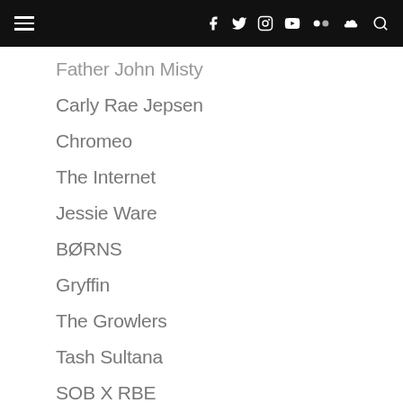Navigation bar with hamburger menu and social icons: Facebook, Twitter, Instagram, YouTube, Flickr, SoundCloud, Search
Father John Misty (partial)
Carly Rae Jepsen
Chromeo
The Internet
Jessie Ware
BØRNS
Gryffin
The Growlers
Tash Sultana
SOB X RBE
Big Gigantic
Broken Social Scene
Rainbow Kitten Surprise
Daniel Caesar
Perfume Genius